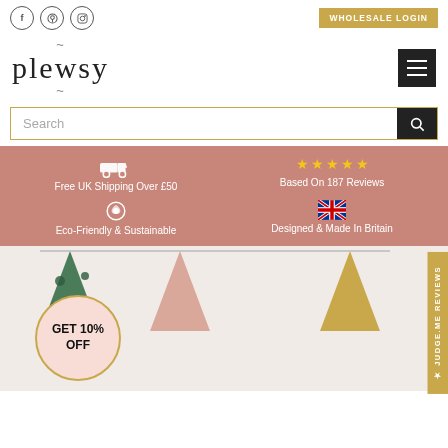Social icons: Facebook, Pinterest, Instagram | WHOLESALE LOGIN
[Figure (logo): Plewsy brand logo with tilde decorations above and below the word 'plewsy']
Search
Free UK Shipping Over £50
Based On 187 Reviews
Eco-Friendly & Sustainable
Designed & Made In Britain
[Figure (photo): Colorful fabric bunting pennants (green with dots, pink/blush, yellow/mustard) hung against a light background]
GET 10% OFF